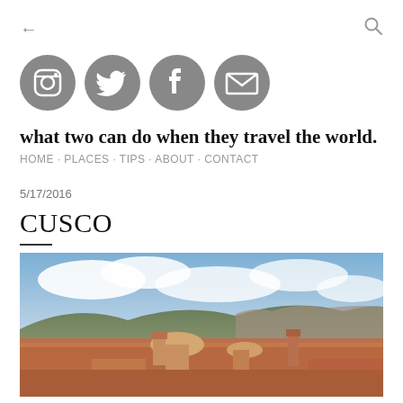← (back) | (search icon)
[Figure (infographic): Four social media icons in dark gray circles: Instagram camera, Twitter bird, Facebook f, Email envelope]
what two can do when they travel the world.
HOME · PLACES · TIPS · ABOUT · CONTACT
5/17/2016
CUSCO
[Figure (photo): Aerial panoramic view of Cusco, Peru showing historic church domes and rooftops with mountains in the background under a partly cloudy sky]